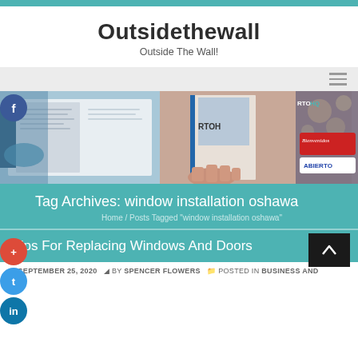Outsidethewall — Outside The Wall!
Outsidethewall
Outside The Wall!
[Figure (screenshot): Hero banner with three images: open magazine/book, hand holding RTOHQ magazine, and Bienvenidos/ABIERTO sign in a store]
Tag Archives: window installation oshawa
Home / Posts Tagged "window installation oshawa"
Tips For Replacing Windows And Doors
SEPTEMBER 25, 2020  BY SPENCER FLOWERS  POSTED IN BUSINESS AND